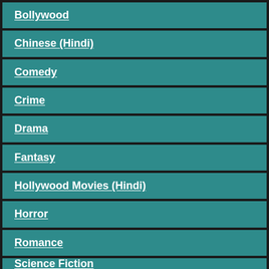Bollywood
Chinese (Hindi)
Comedy
Crime
Drama
Fantasy
Hollywood Movies (Hindi)
Horror
Romance
Science Fiction